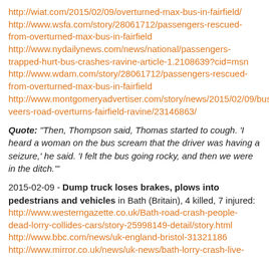http://wiat.com/2015/02/09/overturned-max-bus-in-fairfield/
http://www.wsfa.com/story/28061712/passengers-rescued-from-overturned-max-bus-in-fairfield
http://www.nydailynews.com/news/national/passengers-trapped-hurt-bus-crashes-ravine-article-1.2108639?cid=msn
http://www.wdam.com/story/28061712/passengers-rescued-from-overturned-max-bus-in-fairfield
http://www.montgomeryadvertiser.com/story/news/2015/02/09/bus-veers-road-overturns-fairfield-ravine/23146863/
Quote: "Then, Thompson said, Thomas started to cough. 'I heard a woman on the bus scream that the driver was having a seizure,' he said. 'I felt the bus going rocky, and then we were in the ditch.'"
2015-02-09 - Dump truck loses brakes, plows into pedestrians and vehicles in Bath (Britain), 4 killed, 7 injured:
http://www.westerngazette.co.uk/Bath-road-crash-people-dead-lorry-collides-cars/story-25998149-detail/story.html
http://www.bbc.com/news/uk-england-bristol-31321186
http://www.mirror.co.uk/news/uk-news/bath-lorry-crash-live-